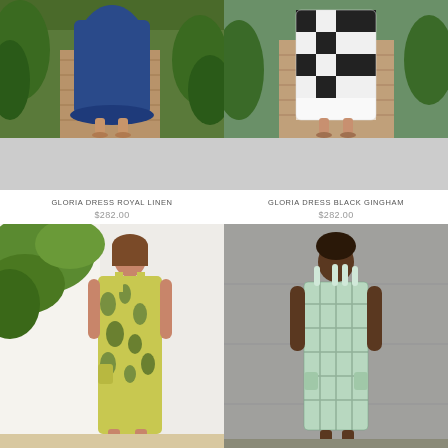[Figure (photo): Woman wearing a long royal blue linen dress, standing on a wooden deck surrounded by lush greenery, photo cropped to show lower body/dress]
GLORIA DRESS ROYAL LINEN
$282.00
[Figure (photo): Woman wearing a black and white gingham check dress, standing on a wooden walkway with green bushes behind, photo cropped to show lower body/dress]
GLORIA DRESS BLACK GINGHAM
$282.00
[Figure (photo): Woman wearing a sleeveless yellow-green floral printed maxi dress/jumpsuit with leaf pattern, standing indoors near a white curtain with a large leafy plant visible]
[Figure (photo): Woman wearing a mint green plaid/grid pattern midi dress with thin straps, standing in front of a concrete wall]